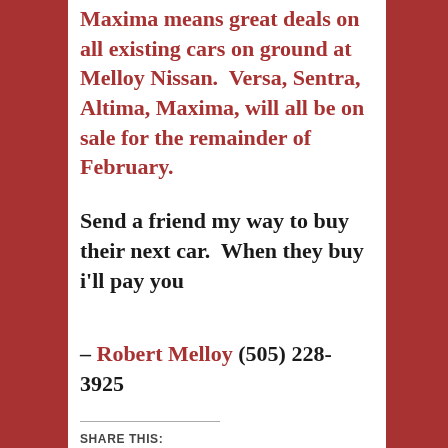Maxima means great deals on all existing cars on ground at Melloy Nissan. Versa, Sentra, Altima, Maxima, will all be on sale for the remainder of February.
Send a friend my way to buy their next car. When they buy i'll pay you
– Robert Melloy (505) 228-3925
SHARE THIS:
[Figure (other): Social share buttons: Tweet (Twitter/X), Post (Tumblr), Share (LinkedIn)]